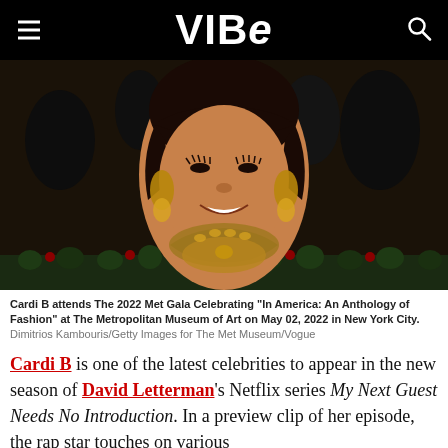VIBE
[Figure (photo): Cardi B at the 2022 Met Gala, smiling, wearing an elaborate gold chain necklace, with dark hair and bangs, photographed against a dark background with other attendees and photographers visible.]
Cardi B attends The 2022 Met Gala Celebrating "In America: An Anthology of Fashion" at The Metropolitan Museum of Art on May 02, 2022 in New York City. Dimitrios Kambouris/Getty Images for The Met Museum/Vogue
Cardi B is one of the latest celebrities to appear in the new season of David Letterman's Netflix series My Next Guest Needs No Introduction. In a preview clip of her episode, the rap star touches on various